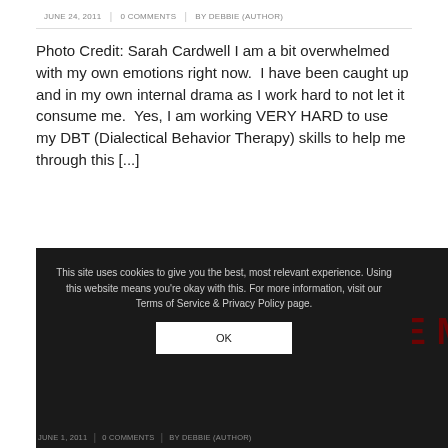JUNE 24, 2011 | 0 COMMENTS | BY DEBBIE (AUTHOR)
Photo Credit: Sarah Cardwell I am a bit overwhelmed with my own emotions right now.  I have been caught up and in my own internal drama as I work hard to not let it consume me.  Yes, I am working VERY HARD to use my DBT (Dialectical Behavior Therapy) skills to help me through this [...]
READ MORE
This site uses cookies to give you the best, most relevant experience. Using this website means you're okay with this. For more information, visit our Terms of Service & Privacy Policy page.
OK
ANXIETY, LACK OF APPETITE, AND WISE MIND
JUNE 1, 2011 | 0 COMMENTS | BY DEBBIE (AUTHOR)